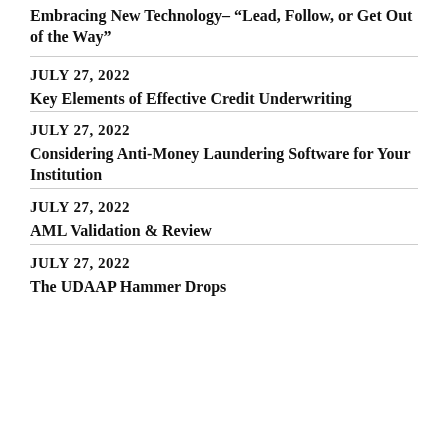Embracing New Technology– “Lead, Follow, or Get Out of the Way”
JULY 27, 2022
Key Elements of Effective Credit Underwriting
JULY 27, 2022
Considering Anti-Money Laundering Software for Your Institution
JULY 27, 2022
AML Validation & Review
JULY 27, 2022
The UDAAP Hammer Drops